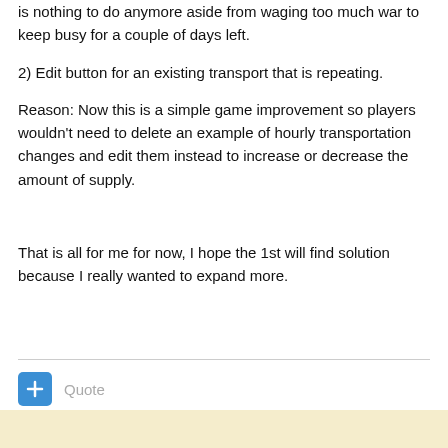is nothing to do anymore aside from waging too much war to keep busy for a couple of days left.
2) Edit button for an existing transport that is repeating.
Reason: Now this is a simple game improvement so players wouldn't need to delete an example of hourly transportation changes and edit them instead to increase or decrease the amount of supply.
That is all for me for now, I hope the 1st will find solution because I really wanted to expand more.